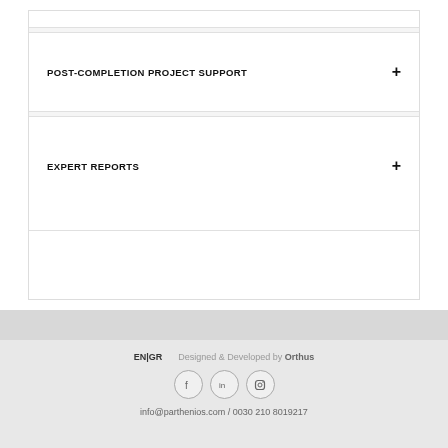POST-COMPLETION PROJECT SUPPORT +
EXPERT REPORTS +
EN|GR   Designed & Developed by Orthus   info@parthenios.com / 0030 210 8019217